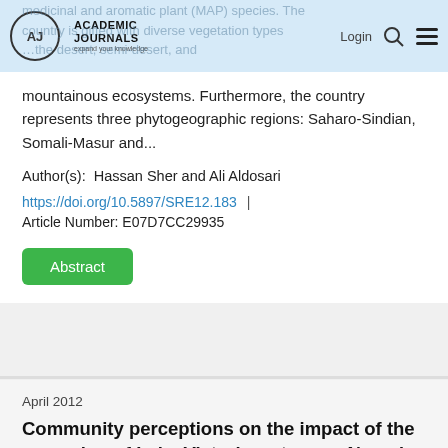Academic Journals — expand your knowledge | Login
medicinal and aromatic plant (MAP) species. The country is gifted with diverse vegetation types …the desert, semi-desert, and mountainous ecosystems. Furthermore, the country represents three phytogeographic regions: Saharo-Sindian, Somali-Masur and...
Author(s):  Hassan Sher and Ali Aldosari
https://doi.org/10.5897/SRE12.183  |  Article Number: E07D7CC29935
Abstract
April 2012
Community perceptions on the impact of the recession of Lake Victoria waters on Nyando Wetlands